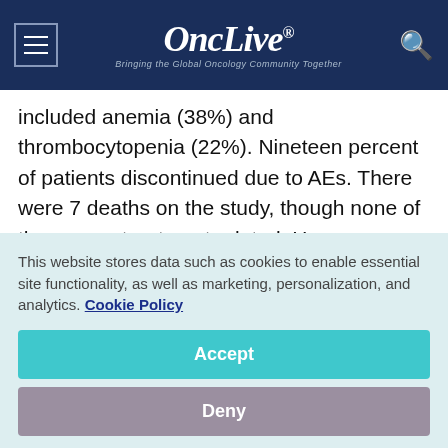OncLive® — Bringing the Global Oncology Community Together
included anemia (38%) and thrombocytopenia (22%). Nineteen percent of patients discontinued due to AEs. There were 7 deaths on the study, though none of them were treatment related. However, suspected cases of Wernicke's encephalopathy in other fedratinib trials led to study termination.
This website stores data such as cookies to enable essential site functionality, as well as marketing, personalization, and analytics. Cookie Policy
Accept
Deny